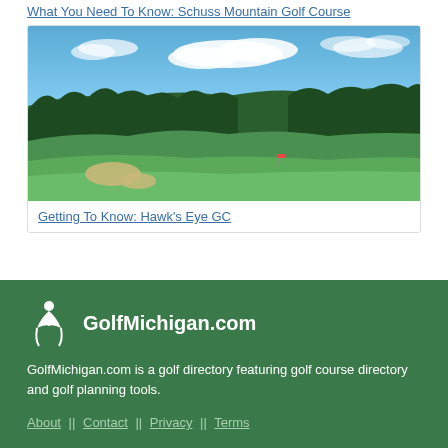What You Need To Know: Schuss Mountain Golf Course
[Figure (photo): Aerial view of Hawk's Eye GC golf course with green fairways, sand bunkers, and tree line under a partly cloudy blue sky]
Getting To Know: Hawk's Eye GC
GolfMichigan.com is a golf directory featuring golf course directory and golf planning tools.
About || Contact || Privacy || Terms